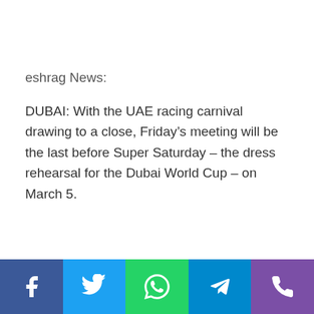eshrag News:
DUBAI: With the UAE racing carnival drawing to a close, Friday’s meeting will be the last before Super Saturday – the dress rehearsal for the Dubai World Cup – on March 5.